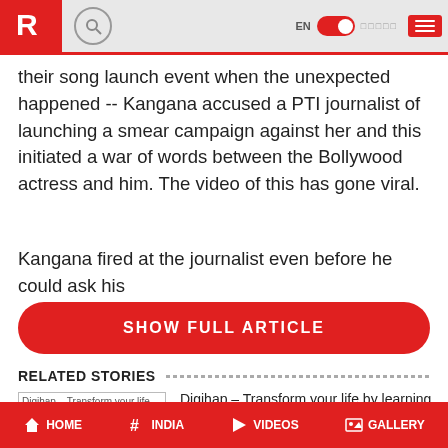News app header with logo, search, language toggle, and menu
their song launch event when the unexpected happened -- Kangana accused a PTI journalist of launching a smear campaign against her and this initiated a war of words between the Bollywood actress and him. The video of this has gone viral.
Kangana fired at the journalist even before he could ask his
SHOW FULL ARTICLE
RELATED STORIES
[Figure (photo): Digihap – Transform your life by learning a new skill from India's best e-learning Ed-Tech platform (thumbnail image placeholder)]
Digihap – Transform your life by learning a new skill from India's best e-learning Ed-Tech platform
HOME  INDIA  VIDEOS  GALLERY